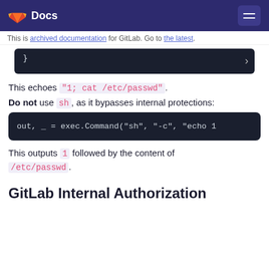Docs
This is archived documentation for GitLab. Go to the latest.
[Figure (screenshot): Dark code block showing closing brace }]
This echoes "1; cat /etc/passwd".
Do not use sh, as it bypasses internal protections:
[Figure (screenshot): Dark code block: out, _ = exec.Command("sh", "-c", "echo 1]
This outputs 1 followed by the content of /etc/passwd.
GitLab Internal Authorization